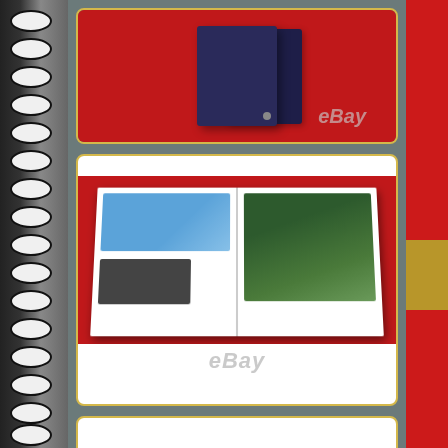[Figure (photo): eBay product listing page showing three photos of a collectible book set. Top photo: dark navy blue slipcase/box set on red background with eBay watermark. Middle photo: open book showing pages with blue sports car photographs on red background with eBay watermark. Bottom photo: partially visible third product image on white background.]